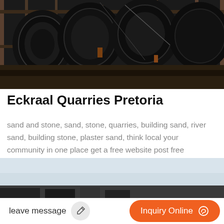[Figure (photo): Industrial quarry machinery - large black circular spiral/screw conveyor components inside a rusted metal frame structure]
Eckraal Quarries Pretoria
sand and stone, sand, stone, quarries, building sand, river sand, building stone, plaster sand, think local your community in one place get a free website post free classified
[Figure (photo): Partially visible second photo of quarry/industrial site, light sky and dark machinery at bottom]
leave message
Inquiry Online